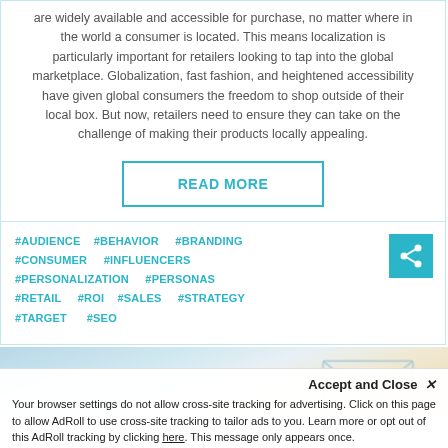are widely available and accessible for purchase, no matter where in the world a consumer is located. This means localization is particularly important for retailers looking to tap into the global marketplace. Globalization, fast fashion, and heightened accessibility have given global consumers the freedom to shop outside of their local box. But now, retailers need to ensure they can take on the challenge of making their products locally appealing.
READ MORE
#AUDIENCE   #BEHAVIOR    #BRANDING   #CONSUMER    #INFLUENCERS   #PERSONALIZATION    #PERSONAS   #RETAIL    #ROI    #SALES    #STRATEGY   #TARGET    #SEO
[Figure (illustration): Partial view of a decorative banner image with blurred desk items and an envelope icon illustration]
Accept and Close ✕
Your browser settings do not allow cross-site tracking for advertising. Click on this page to allow AdRoll to use cross-site tracking to tailor ads to you. Learn more or opt out of this AdRoll tracking by clicking here. This message only appears once.